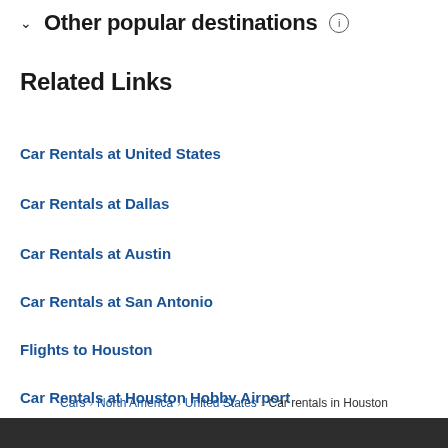Other popular destinations
Related Links
Car Rentals at United States
Car Rentals at Dallas
Car Rentals at Austin
Car Rentals at San Antonio
Flights to Houston
Car Rentals at Houston Hobby Airport
Cars > North America > United States > Car rentals in Houston